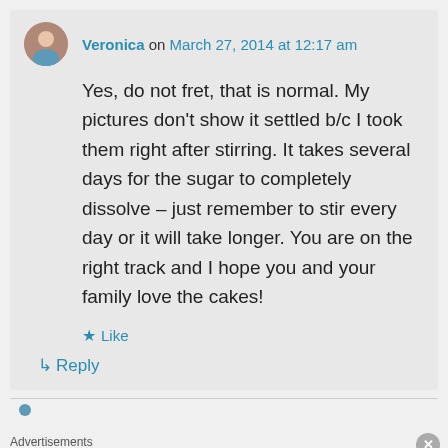Veronica on March 27, 2014 at 12:17 am
Yes, do not fret, that is normal. My pictures don't show it settled b/c I took them right after stirring. It takes several days for the sugar to completely dissolve – just remember to stir every day or it will take longer. You are on the right track and I hope you and your family love the cakes!
Like
Reply
Advertisements
[Figure (photo): ULTA beauty advertisement banner showing makeup-related images: lips with lipstick, makeup brush, eye with makeup, ULTA logo, eyes with dramatic makeup, and SHOP NOW text]